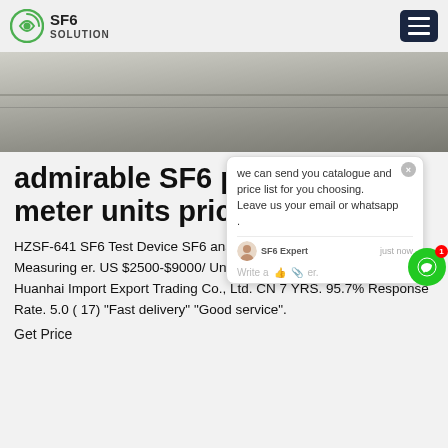SF6 SOLUTION
[Figure (photo): Industrial/electrical panel or surface photograph, gray tones]
admirable SF6 purity meter units pricing
HZSF-641 SF6 Test Device SF6 analyzer H2S SO2 CO HF Content Measuring meter. US $2500-$9000/ Unit. 1.0 Units (Min. Order) Hebei Huanhai Import Export Trading Co., Ltd. CN 7 YRS. 95.7% Response Rate. 5.0 ( 17) "Fast delivery" "Good service".
Get Price